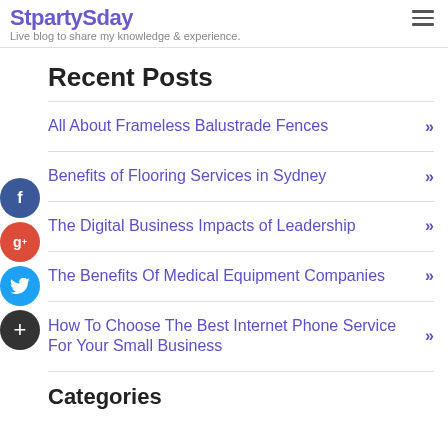StpartySday - Live blog to share my knowledge & experience.
Recent Posts
All About Frameless Balustrade Fences »
Benefits of Flooring Services in Sydney »
The Digital Business Impacts of Leadership »
The Benefits Of Medical Equipment Companies »
How To Choose The Best Internet Phone Service For Your Small Business »
Categories